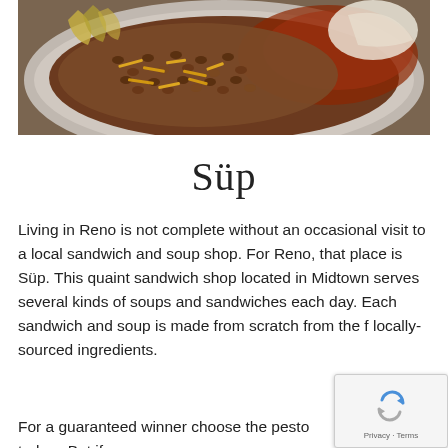[Figure (photo): Close-up photo of a bowl of soup/stew with pinto beans, shredded yellow cheese, and reddish-brown chili sauce on a metal plate, on a wooden table surface.]
Süp
Living in Reno is not complete without an occasional visit to a local sandwich and soup shop. For Reno, that place is Süp. This quaint sandwich shop located in Midtown serves several kinds of soups and sandwiches each day. Each sandwich and soup is made from scratch from the f... locally-sourced ingredients.
For a guaranteed winner choose the pesto turkey. But if